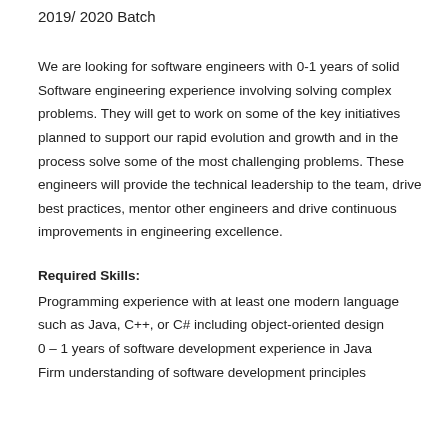2019/ 2020 Batch
We are looking for software engineers with 0-1 years of solid Software engineering experience involving solving complex problems. They will get to work on some of the key initiatives planned to support our rapid evolution and growth and in the process solve some of the most challenging problems. These engineers will provide the technical leadership to the team, drive best practices, mentor other engineers and drive continuous improvements in engineering excellence.
Required Skills:
Programming experience with at least one modern language such as Java, C++, or C# including object-oriented design
0 – 1 years of software development experience in Java
Firm understanding of software development principles